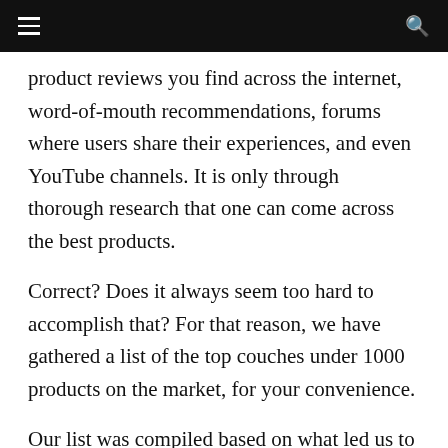≡  🔍
product reviews you find across the internet, word-of-mouth recommendations, forums where users share their experiences, and even YouTube channels. It is only through thorough research that one can come across the best products.
Correct? Does it always seem too hard to accomplish that? For that reason, we have gathered a list of the top couches under 1000 products on the market, for your convenience.
Our list was compiled based on what led us to do so? How did we come up with this guide?